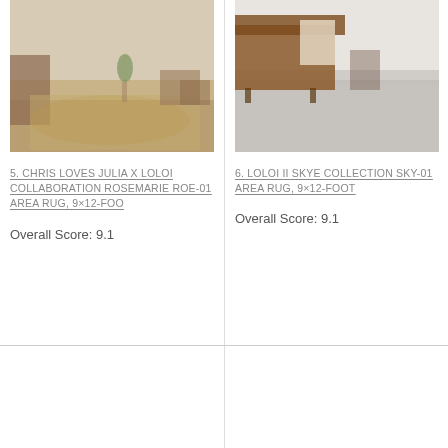[Figure (photo): Living room with a warm-toned patterned area rug, brown leather sofa, white side table, and accent chairs]
[Figure (photo): Minimalist room with a light grey/silver textured area rug and brown leather chair with a throw blanket]
5. CHRIS LOVES JULIA X LOLOI COLLABORATION ROSEMARIE ROE-01 AREA RUG, 9×12-FOO
Overall Score: 9.1
6. LOLOI II SKYE COLLECTION SKY-01 AREA RUG, 9×12-FOOT
Overall Score: 9.1